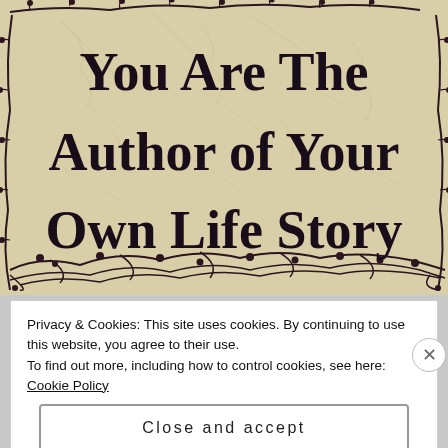[Figure (photo): A decorative ceramic or wooden sign with crackled antique finish and dark vine/branch border design. The sign reads 'You Are The Author of Your Own Life Story' in large serif bold text.]
Privacy & Cookies: This site uses cookies. By continuing to use this website, you agree to their use.
To find out more, including how to control cookies, see here: Cookie Policy
Close and accept